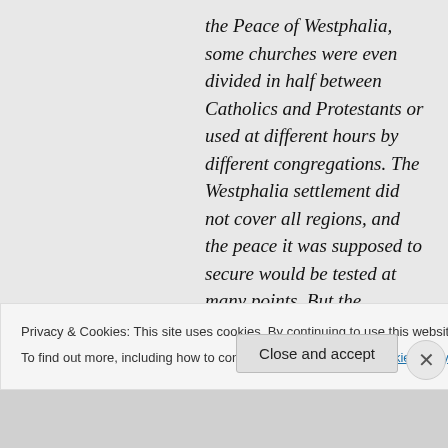the Peace of Westphalia, some churches were even divided in half between Catholics and Protestants or used at different hours by different congregations. The Westphalia settlement did not cover all regions, and the peace it was supposed to secure would be tested at many points. But the settlement was still an apt symbol of the death of Christendom and the beginning of a new world with new ecclesiastical ideals. Moreover, although ancien régime states
Privacy & Cookies: This site uses cookies. By continuing to use this website, you agree to their use. To find out more, including how to control cookies, see here: Cookie Policy